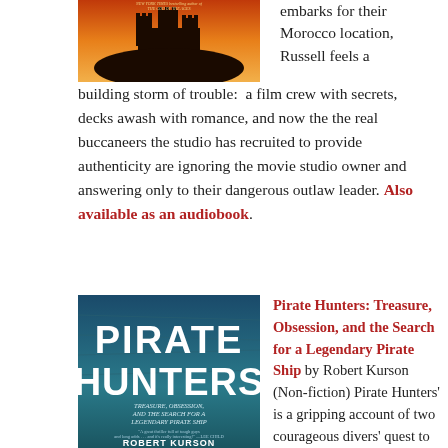[Figure (illustration): Book cover with castle silhouette at dusk, red/orange sky, 'New York Times bestselling author of THE GOD OF THE AGES' text]
embarks for their Morocco location, Russell feels a building storm of trouble:  a film crew with secrets, decks awash with romance, and now the the real buccaneers the studio has recruited to provide authenticity are ignoring the movie studio owner and answering only to their dangerous outlaw leader. Also available as an audiobook.
[Figure (illustration): Book cover for Pirate Hunters: Treasure, Obsession, and the Search for a Legendary Pirate Ship by Robert Kurson. Teal/blue cover with large text PIRATE HUNTERS.]
Pirate Hunters: Treasure, Obsession, and the Search for a Legendary Pirate Ship by Robert Kurson (Non-fiction) Pirate Hunters' is a gripping account of two courageous divers' quest to uncover the